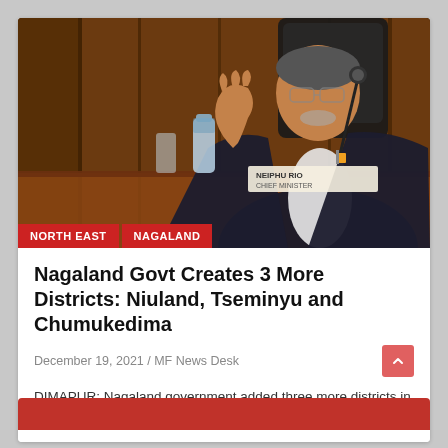[Figure (photo): A man in a dark suit seated at a conference table with a microphone, hand raised gesturing, with a nameplate reading 'NEIPHU RIO CHIEF MINISTER'. Red tag overlays at bottom reading 'NORTH EAST' and 'NAGALAND'.]
Nagaland Govt Creates 3 More Districts: Niuland, Tseminyu and Chumukedima
December 19, 2021 / MF News Desk
DIMAPUR: Nagaland government added three more districts in its total number of districts in the state....